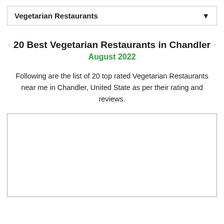Vegetarian Restaurants
20 Best Vegetarian Restaurants in Chandler
August 2022
Following are the list of 20 top rated Vegetarian Restaurants near me in Chandler, United State as per their rating and reviews.
[Figure (other): Empty white box with border — likely a map or image placeholder]